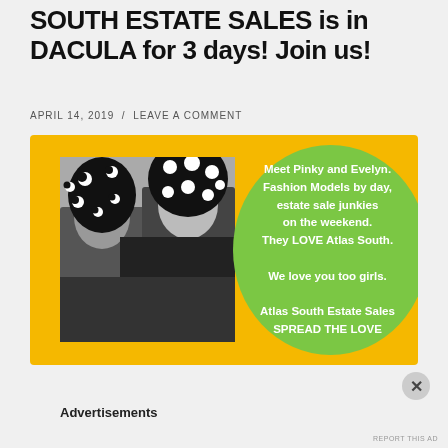SOUTH ESTATE SALES is in DACULA for 3 days! Join us!
APRIL 14, 2019  /  LEAVE A COMMENT
[Figure (infographic): Yellow banner ad with a black-and-white photo of two women wearing polka-dot and crescent-patterned hats on the left, and a green circle on the right containing white text: 'Meet Pinky and Evelyn. Fashion Models by day, estate sale junkies on the weekend. They LOVE Atlas South. We love you too girls. Atlas South Estate Sales SPREAD THE LOVE']
Advertisements